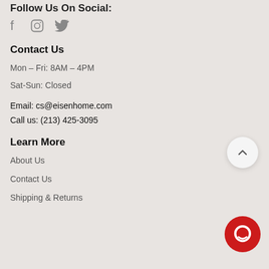Follow Us On Social:
[Figure (other): Social media icons: Facebook (f), Instagram (square icon), Twitter (bird icon)]
Contact Us
Mon – Fri: 8AM – 4PM
Sat-Sun: Closed
Email: cs@eisenhome.com
Call us: (213) 425-3095
Learn More
About Us
Contact Us
Shipping & Returns